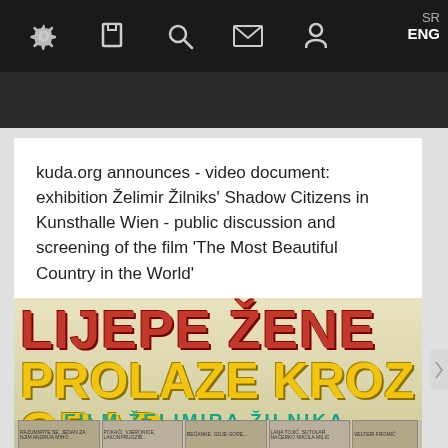SR ENG [navigation icons: settings, bookmark, search, mail, profile]
kuda.org announces - video document: exhibition Želimir Žilniks' Shadow Citizens in Kunsthalle Wien - public discussion and screening of the film 'The Most Beautiful Country in the World'
[Figure (photo): Movie poster for 'Lijepe Žene Prolaze Kroz Grad' (Beautiful Women Pass Through the City), a film by Želimir Žilnik. Large red text reads LIJEPE ŽENE, yellow text reads PROLAZE KROZ GRAD, teal text reads FILM ŽELIMIRA ŽILNIKA. Below is a comic strip panel section with characters.]